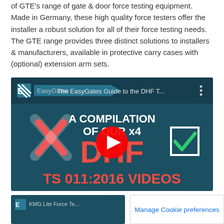of GTE's range of gate & door force testing equipment. Made in Germany, these high quality force testers offer the installer a robust solution for all of their force testing needs. The GTE range provides three distinct solutions to installers & manufacturers, available in protective carry cases with (optional) extension arm sets.
[Figure (screenshot): YouTube video thumbnail showing 'The EasyGates Guide to the DHF T...' with text 'A COMPILATION OF OUR x4 DHF TS 011:2016 VIDEOS' on a dark teal background, with a red YouTube play button in the center, a red X on the left and a green checkmark on the right.]
[Figure (screenshot): Partially visible second video thumbnail showing EasyGates logo and 'KMG Lite Force Te...' text on dark teal background.]
Manage Cookie preferences